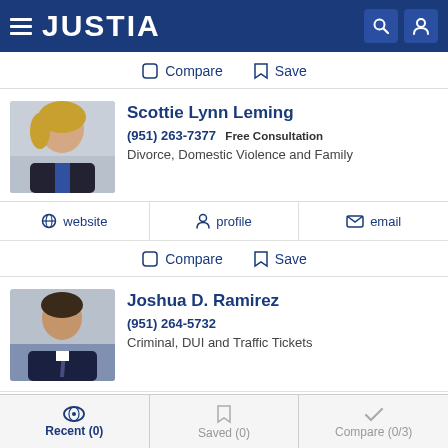JUSTIA
Compare  Save
Scottie Lynn Leming
(951) 263-7377  Free Consultation
Divorce, Domestic Violence and Family
website  profile  email
Compare  Save
Joshua D. Ramirez
(951) 264-5732
Criminal, DUI and Traffic Tickets
Recent (0)  Saved (0)  Compare (0/3)